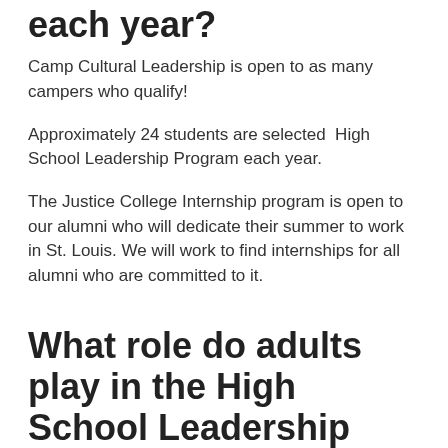each year?
Camp Cultural Leadership is open to as many campers who qualify!
Approximately 24 students are selected  High School Leadership Program each year.
The Justice College Internship program is open to our alumni who will dedicate their summer to work in St. Louis. We will work to find internships for all alumni who are committed to it.
What role do adults play in the High School Leadership program?